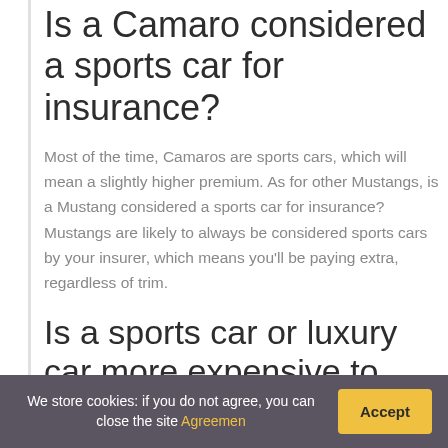Is a Camaro considered a sports car for insurance?
Most of the time, Camaros are sports cars, which will mean a slightly higher premium. As for other Mustangs, is a Mustang considered a sports car for insurance? Mustangs are likely to always be considered sports cars by your insurer, which means you'll be paying extra, regardless of trim.
Is a sports car or luxury car more expensive to insure?
“Sports cars and high-end luxury vehicles are usually
We store cookies: if you do not agree, you can close the site Agreemen